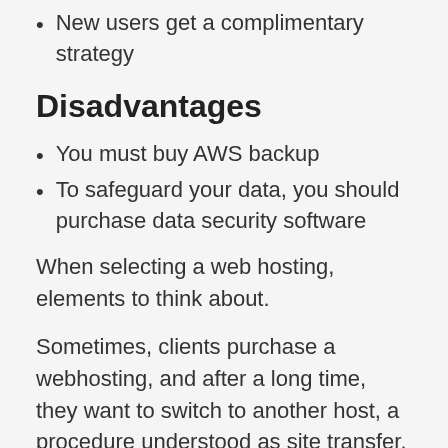New users get a complimentary strategy
Disadvantages
You must buy AWS backup
To safeguard your data, you should purchase data security software
When selecting a web hosting, elements to think about.
Sometimes, clients purchase a webhosting, and after a long time, they want to switch to another host, a procedure understood as site transfer. Some web host offers website migration